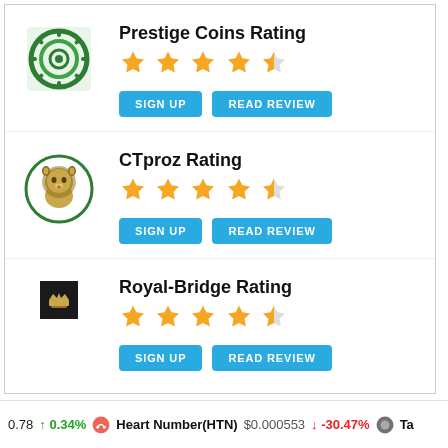[Figure (logo): Prestige Coins logo - green gear/target icon]
Prestige Coins Rating
4.5 stars rating
SIGN UP | READ REVIEW
[Figure (logo): CTproz logo - lion head in green circle]
CTproz Rating
4.5 stars rating
SIGN UP | READ REVIEW
[Figure (logo): Royal-Bridge logo - small dark square icon]
Royal-Bridge Rating
4.5 stars rating
SIGN UP | READ REVIEW
0.78  ↑ 0.34%  Heart Number(HTN)  $0.000553  ↓ -30.47%  Ta...